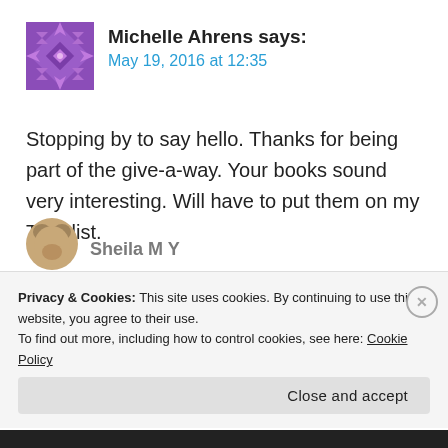[Figure (illustration): Purple geometric/quilted pattern avatar icon for Michelle Ahrens]
Michelle Ahrens says:
May 19, 2016 at 12:35
Stopping by to say hello. Thanks for being part of the give-a-way. Your books sound very interesting. Will have to put them on my TBR list.
★ Like
REPLY
[Figure (illustration): Brown animal/bear avatar partially visible for next commenter Sheila M Y]
Sheila M Y
Privacy & Cookies: This site uses cookies. By continuing to use this website, you agree to their use.
To find out more, including how to control cookies, see here: Cookie Policy
Close and accept